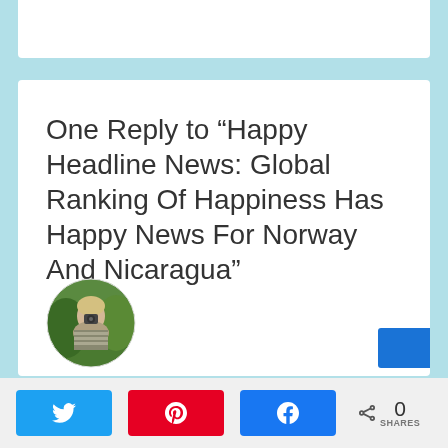One Reply to “Happy Headline News: Global Ranking Of Happiness Has Happy News For Norway And Nicaragua”
[Figure (photo): Circular avatar photo of a person outdoors with greenery in background]